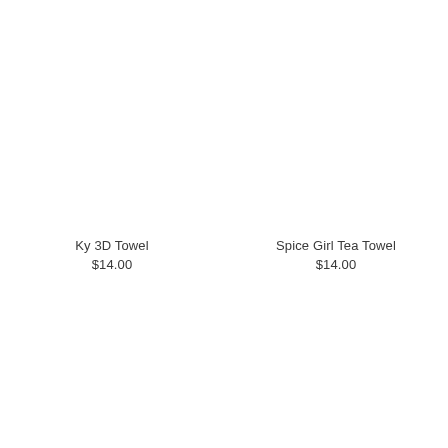Ky 3D Towel
$14.00
Spice Girl Tea Towel
$14.00